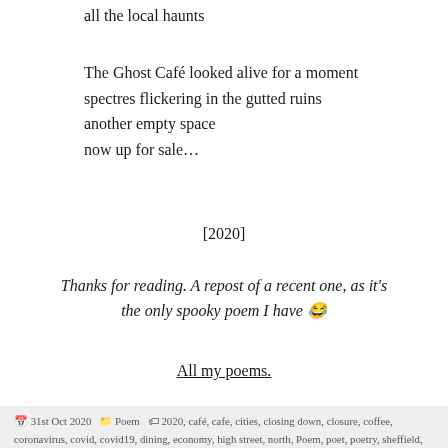all the local haunts
The Ghost Café looked alive for a moment
spectres flickering in the gutted ruins
another empty space
now up for sale...
[2020]
Thanks for reading. A repost of a recent one, as it's the only spooky poem I have 😂
All my poems.
31st Oct 2020   Poem   2020, café, cafe, cities, closing down, closure, coffee, coronavirus, covid, covid19, dining, economy, high street, north, Poem, poet, poetry, sheffield, tea, town, towns, writer, yorkshire   5 Comments